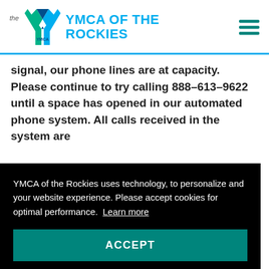YMCA OF THE ROCKIES
signal, our phone lines are at capacity. Please continue to try calling 888-613-9622 until a space has opened in our automated phone system. All calls received in the system are
YMCA of the Rockies uses technology, to personalize and your website experience. Please accept cookies for optimal performance. Learn more
ACCEPT
reservation or answer questions about